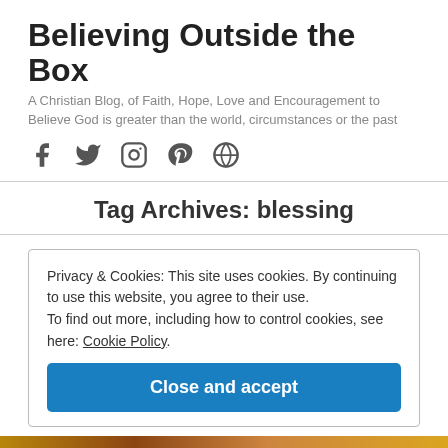Believing Outside the Box
A Christian Blog, of Faith, Hope, Love and Encouragement to Believe God is greater than the world, circumstances or the past
[Figure (other): Social media icons: Facebook, Twitter, Instagram, Pinterest, WordPress]
Tag Archives: blessing
Privacy & Cookies: This site uses cookies. By continuing to use this website, you agree to their use.
To find out more, including how to control cookies, see here: Cookie Policy
Close and accept
[Figure (photo): Partial image visible at bottom of page]